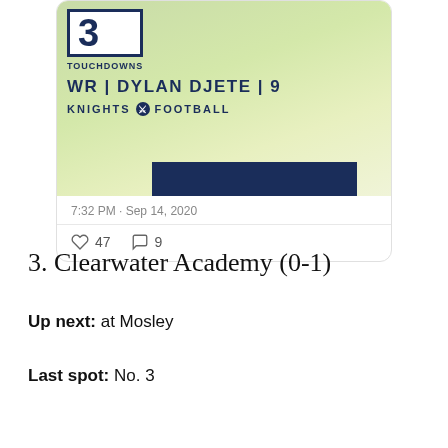[Figure (screenshot): Social media post screenshot showing a football player graphic for WR Dylan Djete #9, Knights Football, with 3 touchdowns stat. Posted 7:32 PM Sep 14, 2020, with 47 likes and 9 comments.]
3. Clearwater Academy (0-1)
Up next: at Mosley
Last spot: No. 3